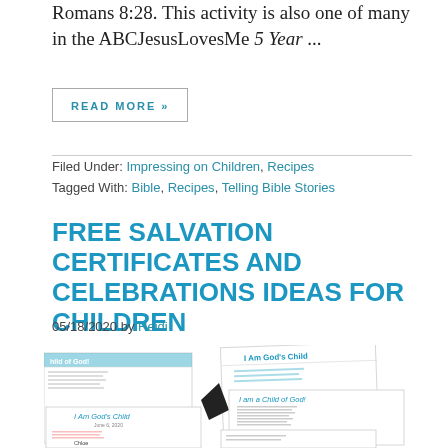Romans 8:28. This activity is also one of many in the ABCJesusLovesMe 5 Year ...
READ MORE »
Filed Under: Impressing on Children, Recipes
Tagged With: Bible, Recipes, Telling Bible Stories
FREE SALVATION CERTIFICATES AND CELEBRATIONS IDEAS FOR CHILDREN
05/18/2020 by Heidi
[Figure (photo): Image showing multiple salvation certificate documents titled 'I Am God's Child' and 'I am a Child of God!' arranged overlapping on a white background]